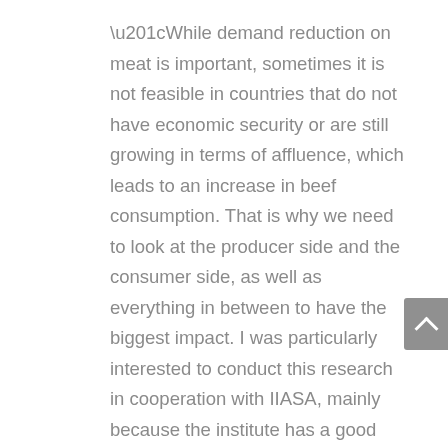“While demand reduction on meat is important, sometimes it is not feasible in countries that do not have economic security or are still growing in terms of affluence, which leads to an increase in beef consumption. That is why we need to look at the producer side and the consumer side, as well as everything in between to have the biggest impact. I was particularly interested to conduct this research in cooperation with IIASA, mainly because the institute has a good history of looking at the impact of beef, particularly in terms of greenhouse gas emissions,” says Lee.
A win-win all-round solution
Using the IIASA Global Biosphere Management